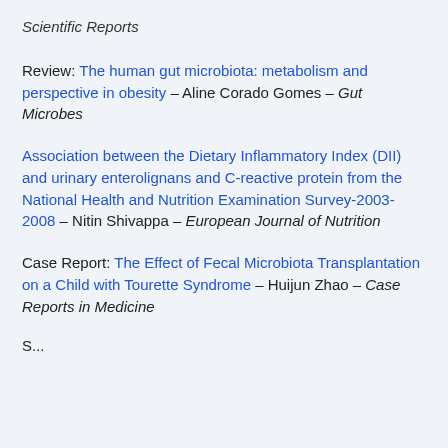Scientific Reports
Review: The human gut microbiota: metabolism and perspective in obesity – Aline Corado Gomes – Gut Microbes
Association between the Dietary Inflammatory Index (DII) and urinary enterolignans and C-reactive protein from the National Health and Nutrition Examination Survey-2003-2008 – Nitin Shivappa – European Journal of Nutrition
Case Report: The Effect of Fecal Microbiota Transplantation on a Child with Tourette Syndrome – Huijun Zhao – Case Reports in Medicine
...